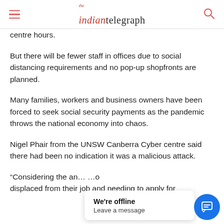the indian telegraph
centre hours.
But there will be fewer staff in offices due to social distancing requirements and no pop-up shopfronts are planned.
Many families, workers and business owners have been forced to seek social security payments as the pandemic throws the national economy into chaos.
Nigel Phair from the UNSW Canberra Cyber centre said there had been no indication it was a malicious attack.
“Considering the an... o... displaced from their job and needing to apply for